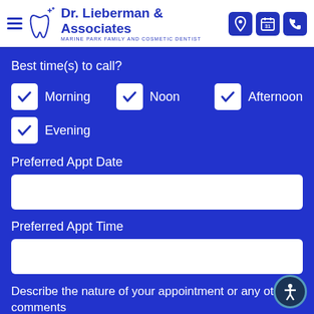Dr. Lieberman & Associates — MARINE PARK FAMILY AND COSMETIC DENTIST
Best time(s) to call?
☑ Morning  ☑ Noon  ☑ Afternoon
☑ Evening
Preferred Appt Date
Preferred Appt Time
Describe the nature of your appointment or any other comments
Routine Check up